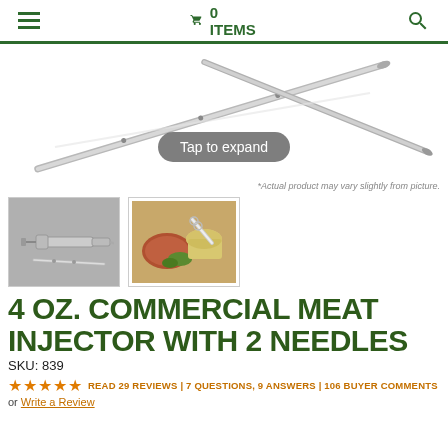☰  🛒 0 ITEMS  🔍
[Figure (photo): Two stainless steel meat injector needles shown against white background, with a 'Tap to expand' button overlay]
*Actual product may vary slightly from picture.
[Figure (photo): Thumbnail 1: Meat injector syringe with needles on gray background]
[Figure (photo): Thumbnail 2: Meat injector used with marinade and food on cutting board]
4 OZ. COMMERCIAL MEAT INJECTOR WITH 2 NEEDLES
SKU: 839
★★★★★ READ 29 REVIEWS | 7 QUESTIONS, 9 ANSWERS | 106 BUYER COMMENTS
or Write a Review